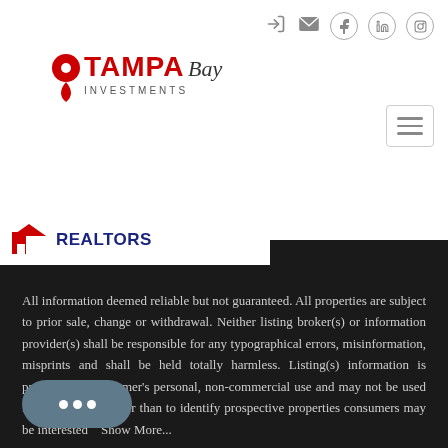[Figure (logo): Tampa Bay Investments logo with map pin icon]
REALTORS
All information deemed reliable but not guaranteed. All properties are subject to prior sale, change or withdrawal. Neither listing broker(s) or information provider(s) shall be responsible for any typographical errors, misinformation, misprints and shall be held totally harmless. Listing(s) information is provided for consumer's personal, non-commercial use and may not be used for any purpose other than to identify prospective properties consumers may be interested   Show More...